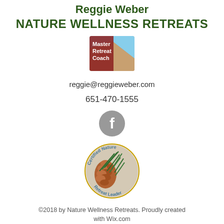Reggie Weber
NATURE WELLNESS RETREATS
[Figure (logo): Master Retreat Coach badge with landscape background and text 'retreatcoaches.com']
reggie@reggieweber.com
651-470-1555
[Figure (logo): Facebook icon - grey circle with white 'f' letter]
[Figure (logo): Certified Nature Retreat Leader circular badge with pine cone and needles image]
©2018 by Nature Wellness Retreats. Proudly created with Wix.com